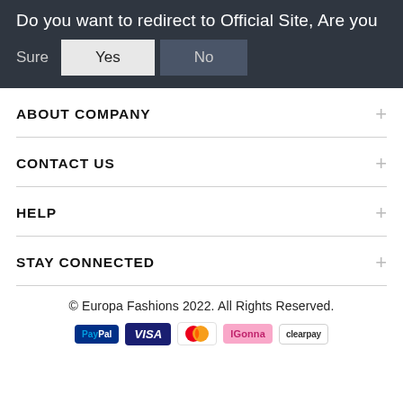Do you want to redirect to Official Site, Are you Sure
ABOUT COMPANY
CONTACT US
HELP
STAY CONNECTED
© Europa Fashions 2022. All Rights Reserved.
[Figure (other): Payment method logos: PayPal, Visa, Mastercard, IGonna, Clearpay]